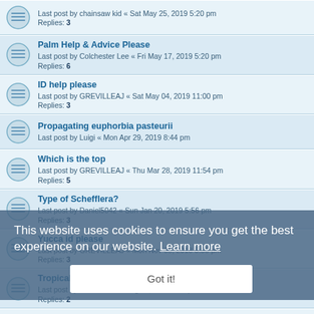Last post by chainsaw kid « Sat May 25, 2019 5:20 pm
Replies: 3
Palm Help & Advice Please
Last post by Colchester Lee « Fri May 17, 2019 5:20 pm
Replies: 6
ID help please
Last post by GREVILLEAJ « Sat May 04, 2019 11:00 pm
Replies: 3
Propagating euphorbia pasteurii
Last post by Luigi « Mon Apr 29, 2019 8:44 pm
Which is the top
Last post by GREVILLEAJ « Thu Mar 28, 2019 11:54 pm
Replies: 5
Type of Schefflera?
Last post by Daniel5042 « Sun Jan 20, 2019 5:56 pm
Replies: 3
Yucca id please
Last post by GREVILLEAJ « Mon Nov 05, 2018 5:55 pm
Replies: 3
Tropical plants from seed
Last post by Chez? « Wed Aug 15, 2018 7:35 pm
Replies: 2
ID Plant
Last post by Sparrow « Mon Jul 30, 2018 9:19 am
Replies: 2
Tree id
Last post by rufc15lizzie « Wed Jun 27, 2018 1:04 pm
Replies: 6
This website uses cookies to ensure you get the best experience on our website. Learn more
Got it!